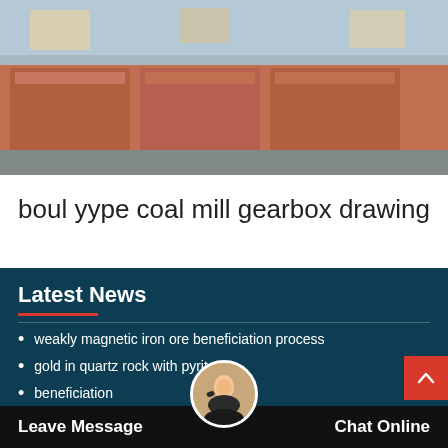[Figure (photo): Industrial photo showing large red cargo barges or industrial vessels at a dock/port, taken from above.]
boul yype coal mill gearbox drawing
Latest News
weakly magnetic iron ore beneficiation process
gold in quartz rock with pyrite
beneficiation
ceramic ball mill uses
what is the function of electrostatic precipitator
Leave a message machine crusher s... p...
Leave Message  Chat Online